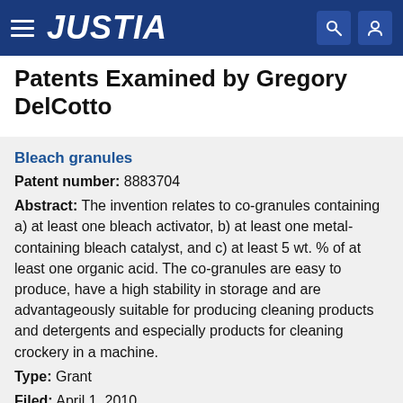JUSTIA
Patents Examined by Gregory DelCotto
Bleach granules
Patent number: 8883704
Abstract: The invention relates to co-granules containing a) at least one bleach activator, b) at least one metal-containing bleach catalyst, and c) at least 5 wt. % of at least one organic acid. The co-granules are easy to produce, have a high stability in storage and are advantageously suitable for producing cleaning products and detergents and especially products for cleaning crockery in a machine.
Type: Grant
Filed: April 1, 2010
Date of Patent: November 11, 2014
Assignee: Clariant International Ltd